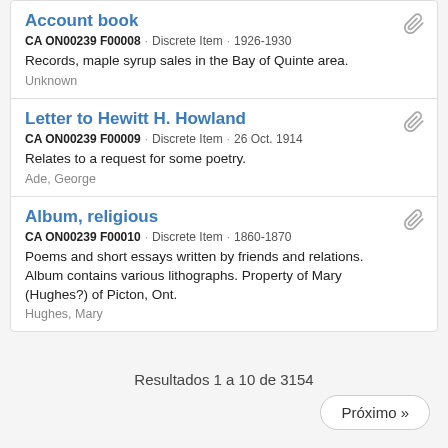Account book
CA ON00239 F00008 · Discrete Item · 1926-1930
Records, maple syrup sales in the Bay of Quinte area.
Unknown
Letter to Hewitt H. Howland
CA ON00239 F00009 · Discrete Item · 26 Oct. 1914
Relates to a request for some poetry.
Ade, George
Album, religious
CA ON00239 F00010 · Discrete Item · 1860-1870
Poems and short essays written by friends and relations. Album contains various lithographs. Property of Mary (Hughes?) of Picton, Ont.
Hughes, Mary
Resultados 1 a 10 de 3154
Próximo »